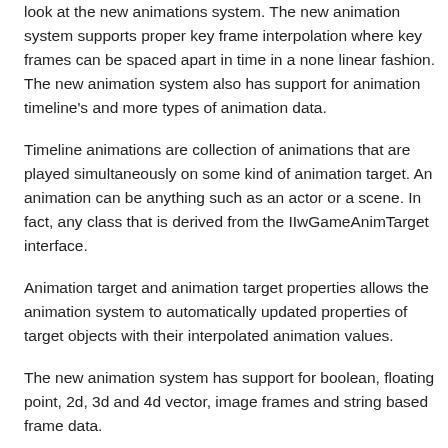look at the new animations system. The new animation system supports proper key frame interpolation where key frames can be spaced apart in time in a none linear fashion. The new animation system also has support for animation timeline's and more types of animation data.
Timeline animations are collection of animations that are played simultaneously on some kind of animation target. An animation can be anything such as an actor or a scene. In fact, any class that is derived from the IIwGameAnimTarget interface.
Animation target and animation target properties allows the animation system to automatically updated properties of target objects with their interpolated animation values.
The new animation system has support for boolean, floating point, 2d, 3d and 4d vector, image frames and string based frame data.
XML parser and Streams
Stream input and output classes and XML parser utilities have